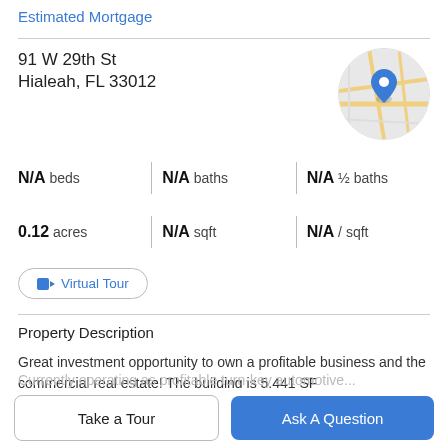Estimated Mortgage
91 W 29th St
Hialeah, FL 33012
[Figure (map): Circular map thumbnail showing street map with blue location pin marker for 91 W 29th St, Hialeah, FL]
N/A beds | N/A baths | N/A ½ baths
0.12 acres | N/A sqft | N/A / sqft
Virtual Tour
Property Description
Great investment opportunity to own a profitable business and the commercial real estate! The building is 5,441 SF
Currently operating as profitable turn-key automotive...